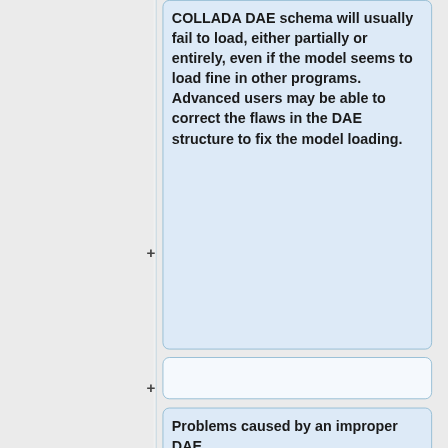COLLADA DAE schema will usually fail to load, either partially or entirely, even if the model seems to load fine in other programs. Advanced users may be able to correct the flaws in the DAE structure to fix the model loading.
Problems caused by an improper DAE